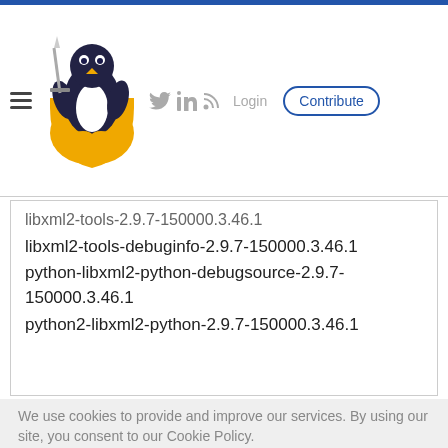Linux Security Expert website header with penguin logo, navigation icons (Twitter, LinkedIn, RSS), Login, and Contribute button
libxml2-tools-2.9.7-150000.3.46.1 (truncated at top)
libxml2-tools-debuginfo-2.9.7-150000.3.46.1
python-libxml2-python-debugsource-2.9.7-150000.3.46.1
python2-libxml2-python-2.9.7-150000.3.46.1
We use cookies to provide and improve our services. By using our site, you consent to our Cookie Policy.
Accept | Learn More About Our Cookie Policy
150000.3.46.1
- SUSE Linux Enterprise High Performance Computing 15-SP2-ESPOS (x86_64):